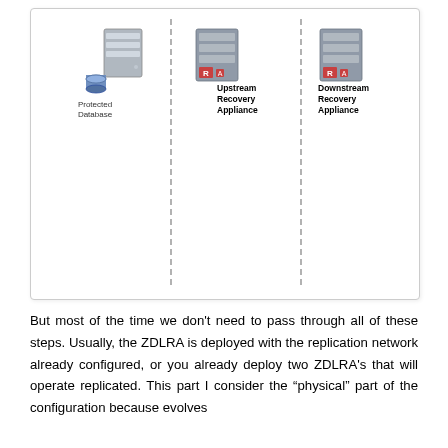[Figure (schematic): Diagram showing three components separated by dashed vertical lines: Protected Database (server/DB icon on left), Upstream Recovery Appliance (server with R label, center), and Downstream Recovery Appliance (server with R label, right).]
But most of the time we don't need to pass through all of these steps. Usually, the ZDLRA is deployed with the replication network already configured, or you already deploy two ZDLRA's that will operate replicated. This part I consider the "physical" part of the configuration because evolves